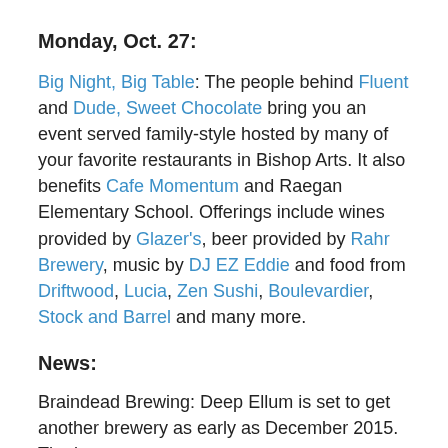Monday, Oct. 27:
Big Night, Big Table: The people behind Fluent and Dude, Sweet Chocolate bring you an event served family-style hosted by many of your favorite restaurants in Bishop Arts. It also benefits Cafe Momentum and Raegan Elementary School. Offerings include wines provided by Glazer's, beer provided by Rahr Brewery, music by DJ EZ Eddie and food from Driftwood, Lucia, Zen Sushi, Boulevardier, Stock and Barrel and many more.
News:
Braindead Brewing: Deep Ellum is set to get another brewery as early as December 2015. The brewery,